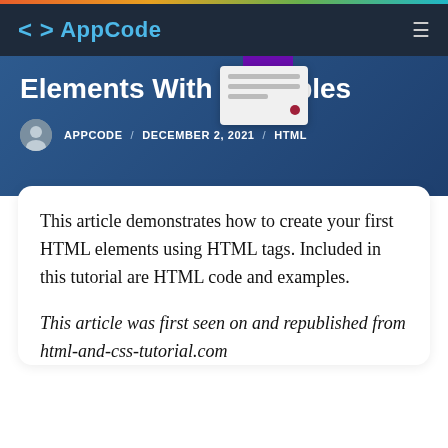< > AppCode
Elements With Examples
APPCODE / DECEMBER 2, 2021 / HTML
This article demonstrates how to create your first HTML elements using HTML tags. Included in this tutorial are HTML code and examples.
This article was first seen on and republished from html-and-css-tutorial.com